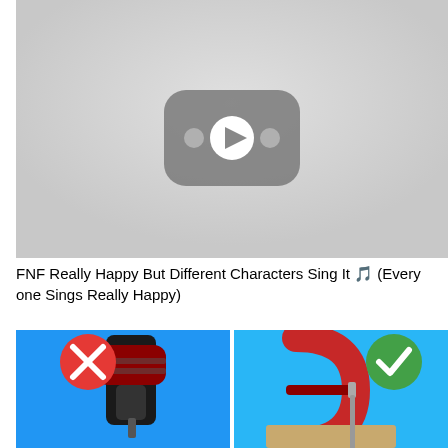[Figure (screenshot): YouTube video thumbnail placeholder showing a gray background with a YouTube play button logo (rounded rectangle with a play triangle and two dots) in darker gray]
FNF Really Happy But Different Characters Sing It 🎵 (Every one Sings Really Happy)
[Figure (screenshot): Video thumbnail split in two halves: left half has a red X circle badge and shows a power drill on blue background; right half has a green checkmark circle badge and shows a red C-clamp holding a screw into wood on blue background]